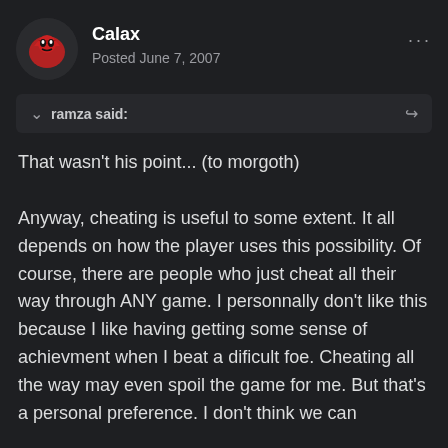Calax
Posted June 7, 2007
ramza said:
That wasn't his point... (to morgoth)

Anyway, cheating is useful to some extent. It all depends on how the player uses this possibility. Of course, there are people who just cheat all their way through ANY game. I personnally don't like this because I like having getting some sense of achievment when I beat a dificult foe. Cheating all the way may even spoil the game for me. But that's a personal preference. I don't think we can